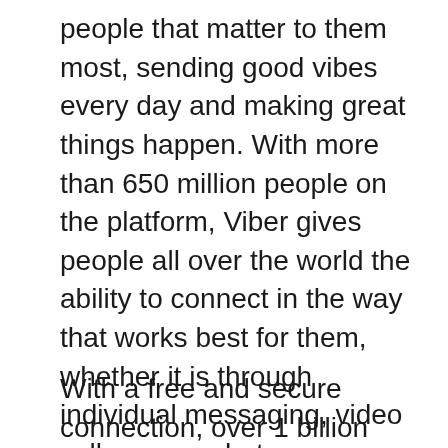people that matter to them most, sending good vibes every day and making great things happen. With more than 650 million people on the platform, Viber gives people all over the world the ability to connect in the way that works best for them, whether it is through individual messaging, video calls, group chats, or following brands and celebrities on Public Chats.  Also, Viber for Chrome is a Google Chrome add-on designed to seamlessly integrate a share button that will allow you to share all of your favorite content with all of your Viber contacts.
With a free and secure connection, over 1 billion users worldwide communicate with their loved ones through high-quality audio and video calls, messaging, and much more